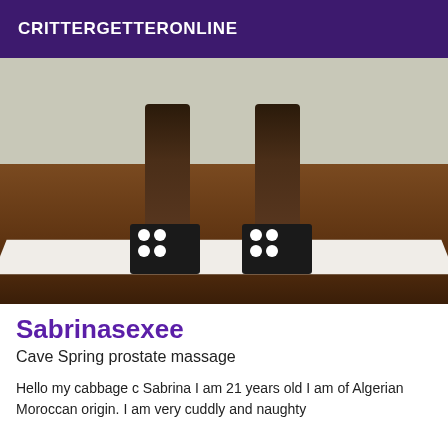CRITTERGETTERONLINE
[Figure (photo): Photo of a person's legs wearing black strappy heeled shoes with polka dot details, standing on a dark wooden floor with a white surface/bed visible at the bottom edge.]
Sabrinasexee
Cave Spring prostate massage
Hello my cabbage c Sabrina I am 21 years old I am of Algerian Moroccan origin. I am very cuddly and naughty